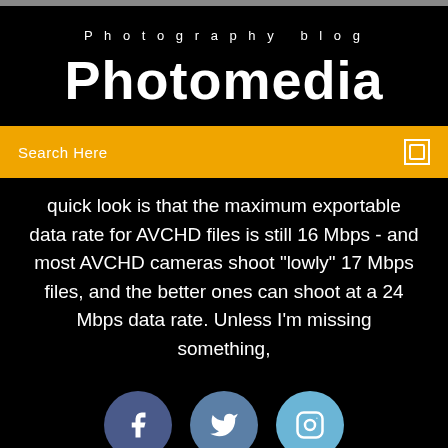Photography blog
Photomedia
Search Here
quick look is that the maximum exportable data rate for AVCHD files is still 16 Mbps - and most AVCHD cameras shoot "lowly" 17 Mbps files, and the better ones can shoot at a 24 Mbps data rate. Unless I'm missing something,
[Figure (infographic): Three social media icons: Facebook (dark blue circle with f), Twitter (medium blue circle with bird), Instagram (light blue circle with camera outline)]